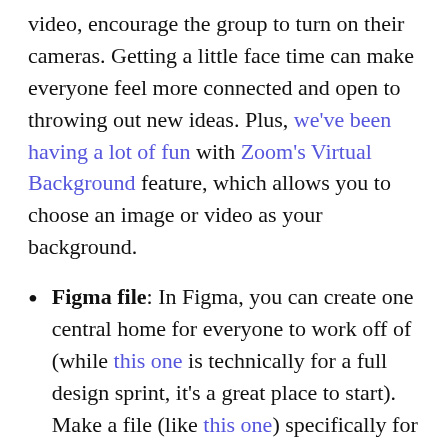video, encourage the group to turn on their cameras. Getting a little face time can make everyone feel more connected and open to throwing out new ideas. Plus, we've been having a lot of fun with Zoom's Virtual Background feature, which allows you to choose an image or video as your background.
Figma file: In Figma, you can create one central home for everyone to work off of (while this one is technically for a full design sprint, it's a great place to start). Make a file (like this one) specifically for the brainstorming session and give everyone in the meeting edit access. You can make as many pages as you need within that file. Or, you can create multiple